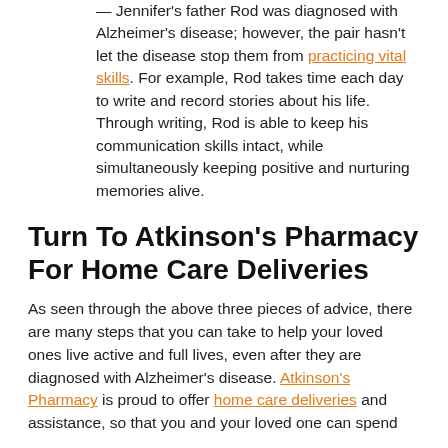— Jennifer's father Rod was diagnosed with Alzheimer's disease; however, the pair hasn't let the disease stop them from practicing vital skills. For example, Rod takes time each day to write and record stories about his life. Through writing, Rod is able to keep his communication skills intact, while simultaneously keeping positive and nurturing memories alive.
Turn To Atkinson's Pharmacy For Home Care Deliveries
As seen through the above three pieces of advice, there are many steps that you can take to help your loved ones live active and full lives, even after they are diagnosed with Alzheimer's disease. Atkinson's Pharmacy is proud to offer home care deliveries and assistance, so that you and your loved one can spend